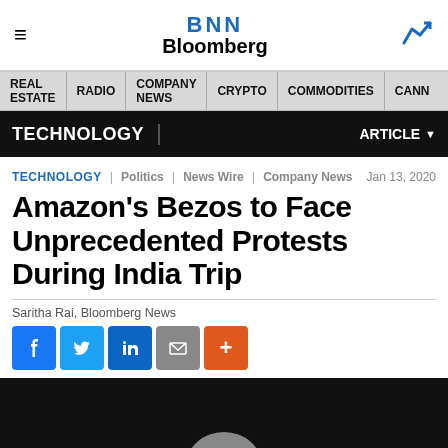BNN Bloomberg
REAL ESTATE | RADIO | COMPANY NEWS | CRYPTO | COMMODITIES | CANN
TECHNOLOGY | ARTICLE
TECHNOLOGY | Politics | News Wire | Company News | Jan 13, 2020
Amazon's Bezos to Face Unprecedented Protests During India Trip
Saritha Rai, Bloomberg News
[Figure (screenshot): Social sharing buttons: Facebook, Twitter, LinkedIn, Email, More]
[Figure (photo): Dark background photo showing top of a bald person's head]